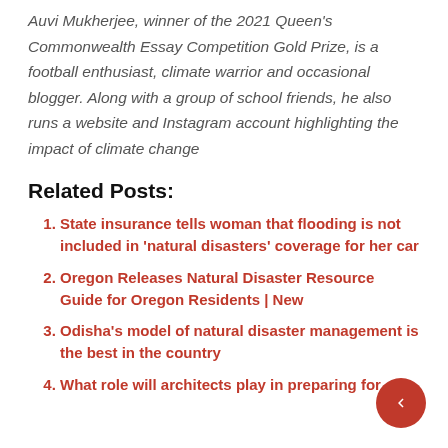Auvi Mukherjee, winner of the 2021 Queen's Commonwealth Essay Competition Gold Prize, is a football enthusiast, climate warrior and occasional blogger. Along with a group of school friends, he also runs a website and Instagram account highlighting the impact of climate change
Related Posts:
State insurance tells woman that flooding is not included in 'natural disasters' coverage for her car
Oregon Releases Natural Disaster Resource Guide for Oregon Residents | New
Odisha's model of natural disaster management is the best in the country
What role will architects play in preparing for